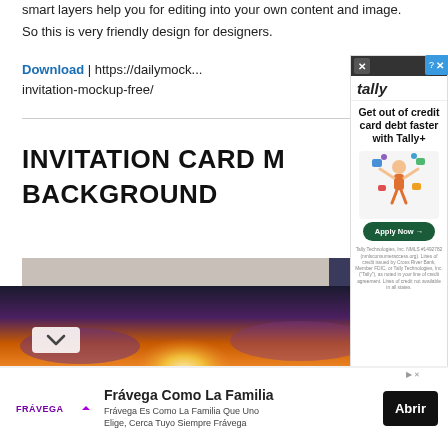smart layers help you for editing into your own content and image.
So this is very friendly design for designers.
Download | https://dailymock... invitation-mockup-free/
INVITATION CARD M... BACKGROUND
[Figure (photo): Sunset over ocean with colorful sky and reflections on water]
[Figure (infographic): Tally ad overlay: Get out of credit card debt faster with Tally+. Apply Now button. Person with juggling icons illustration.]
[Figure (infographic): Frávega Como La Familia advertisement with logo and Abrir button]